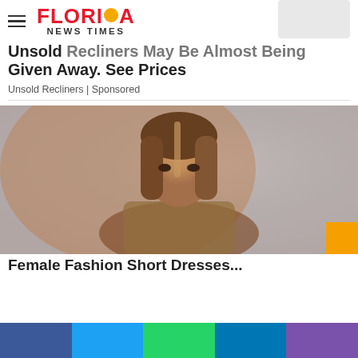Florida News Times
Unsold Recliners May Be Almost Being Given Away. See Prices
Unsold Recliners | Sponsored
[Figure (photo): Young blonde woman with straight hair wearing a sequined outfit, posing against a textured silver/grey background with warm orange lighting]
Female Fashion Short Dresses...